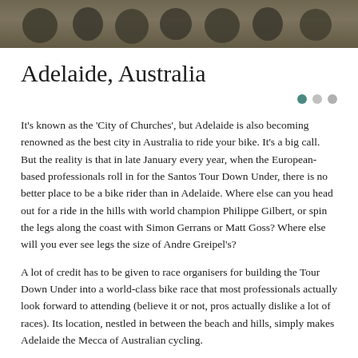[Figure (photo): A horizontal photo strip showing cyclists and bicycles from above, muted earth tones.]
Adelaide, Australia
It’s known as the ‘City of Churches’, but Adelaide is also becoming renowned as the best city in Australia to ride your bike. It’s a big call. But the reality is that in late January every year, when the European-based professionals roll in for the Santos Tour Down Under, there is no better place to be a bike rider than in Adelaide. Where else can you head out for a ride in the hills with world champion Philippe Gilbert, or spin the legs along the coast with Simon Gerrans or Matt Goss? Where else will you ever see legs the size of Andre Greipel’s?
A lot of credit has to be given to race organisers for building the Tour Down Under into a world-class bike race that most professionals actually look forward to attending (believe it or not, pros actually dislike a lot of races). Its location, nestled in between the beach and hills, simply makes Adelaide the Mecca of Australian cycling.